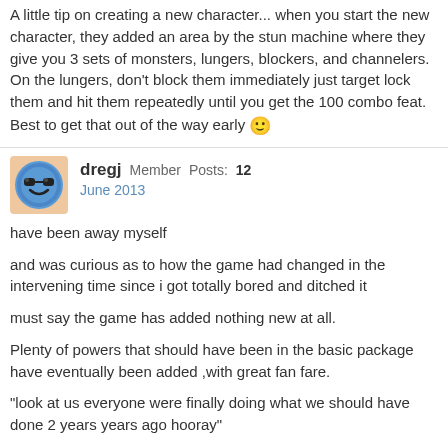A little tip on creating a new character... when you start the new character, they added an area by the stun machine where they give you 3 sets of monsters, lungers, blockers, and channelers. On the lungers, don't block them immediately just target lock them and hit them repeatedly until you get the 100 combo feat. Best to get that out of the way early 🙂
dregj Member Posts: 12
June 2013
have been away myself
and was curious as to how the game had changed in the intervening time since i got totally bored and ditched it
must say the game has added nothing new at all.
Plenty of powers that should have been in the basic package have eventually been added ,with great fan fare.
"look at us everyone were finally doing what we should have done 2 years years ago hooray"
everything added is for the paying members
f2p get absolutely nothing after all these years later